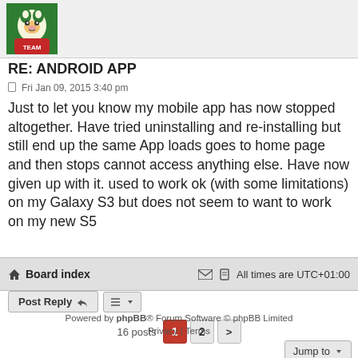[Figure (photo): Forum user avatar showing a cartoon tiger/mascot with sports jersey in green and red colors]
RE: ANDROID APP
Fri Jan 09, 2015 3:40 pm
Just to let you know my mobile app has now stopped altogether. Have tried uninstalling and re-installing but still end up the same App loads goes to home page and then stops cannot access anything else. Have now given up with it. used to work ok (with some limitations) on my Galaxy S3 but does not seem to want to work on my new S5
Post Reply
16 posts  1  2  >
Jump to
Board index   All times are UTC+01:00
Powered by phpBB® Forum Software © phpBB Limited
Privacy | Terms